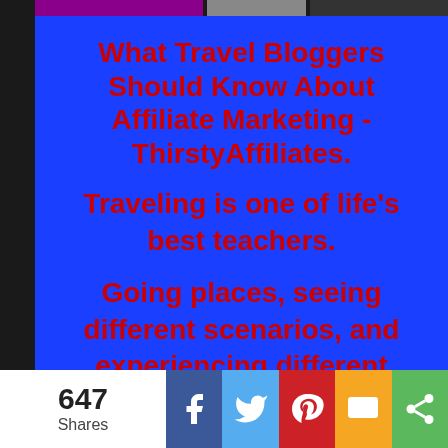[Figure (screenshot): Top strip with three images (purple, gray, dark) at the top]
What Travel Bloggers Should Know About Affiliate Marketing - ThirstyAffiliates.
Traveling is one of life’s best teachers.
Going places, seeing different scenarios, and experiencing different cultures can enrich a person in ways nothing else can
[Figure (infographic): Social share bar at bottom: 647 Shares, Facebook, Twitter, Pinterest, SMS, Share icons]